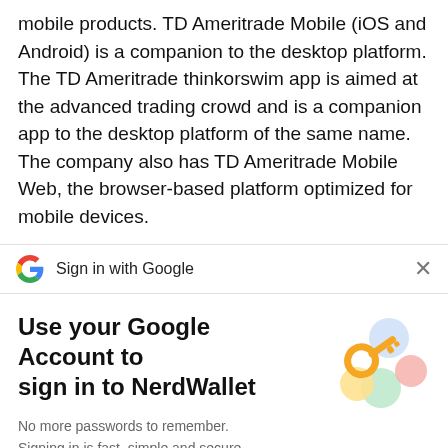mobile products. TD Ameritrade Mobile (iOS and Android) is a companion to the desktop platform. The TD Ameritrade thinkorswim app is aimed at the advanced trading crowd and is a companion app to the desktop platform of the same name. The company also has TD Ameritrade Mobile Web, the browser-based platform optimized for mobile devices.
Sign in with Google
Use your Google Account to sign in to NerdWallet
No more passwords to remember. Signing in is fast, simple and secure.
[Figure (illustration): Google Sign-In illustration showing a key icon with colorful circular shapes]
Continue